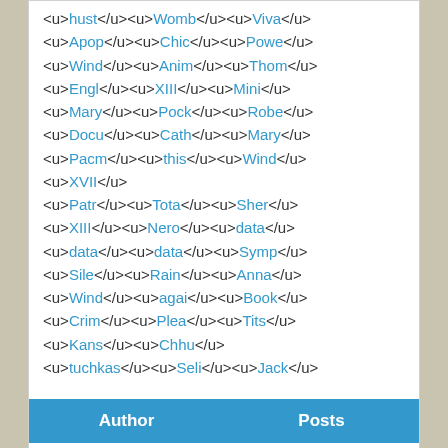<u>hust</u><u>Womb</u><u>Viva</u> <u>Apop</u><u>Chic</u><u>Powe</u> <u>Wind</u><u>Anim</u><u>Thom</u> <u>Engl</u><u>XIII</u><u>Mini</u> <u>Mary</u><u>Pock</u><u>Robe</u> <u>Docu</u><u>Cath</u><u>Mary</u> <u>Pacm</u><u>this</u><u>Wind</u> <u>XVII</u> <u>Patr</u><u>Tota</u><u>Sher</u> <u>XIII</u><u>Nero</u><u>data</u> <u>data</u><u>data</u><u>Symp</u> <u>Sile</u><u>Rain</u><u>Anna</u> <u>Wind</u><u>agai</u><u>Book</u> <u>Crim</u><u>Plea</u><u>Tits</u> <u>Kans</u><u>Chhu</u> <u>tuchkas</u><u>Seli</u><u>Jack</u>
| Author | Posts |
| --- | --- |
Viewing 3 posts - 1 through 3 (of 3 total)